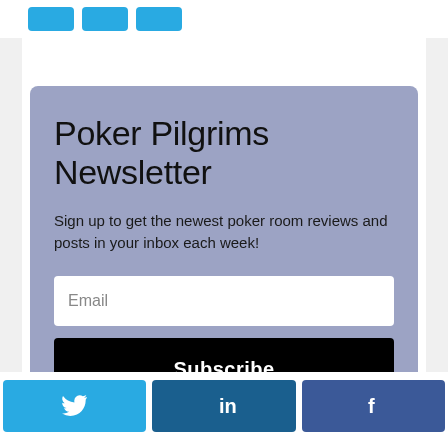[Figure (infographic): Newsletter signup card with blue-purple background. Contains title 'Poker Pilgrims Newsletter', descriptive text, an Email input field, and a black Subscribe button.]
Poker Pilgrims Newsletter
Sign up to get the newest poker room reviews and posts in your inbox each week!
[Figure (infographic): Bottom social sharing bar with three buttons: Twitter (light blue with bird icon), LinkedIn (dark blue with 'in'), Facebook (blue with 'f').]